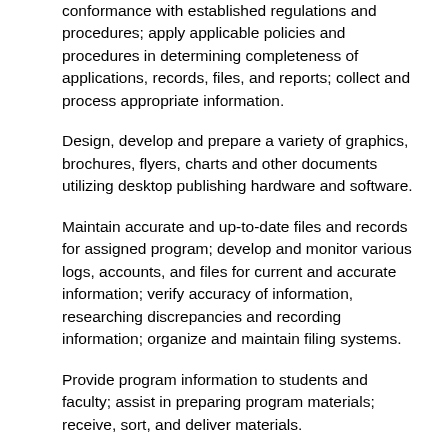conformance with established regulations and procedures; apply applicable policies and procedures in determining completeness of applications, records, files, and reports; collect and process appropriate information.
Design, develop and prepare a variety of graphics, brochures, flyers, charts and other documents utilizing desktop publishing hardware and software.
Maintain accurate and up-to-date files and records for assigned program; develop and monitor various logs, accounts, and files for current and accurate information; verify accuracy of information, researching discrepancies and recording information; organize and maintain filing systems.
Provide program information to students and faculty; assist in preparing program materials; receive, sort, and deliver materials.
Perform related duties as required.